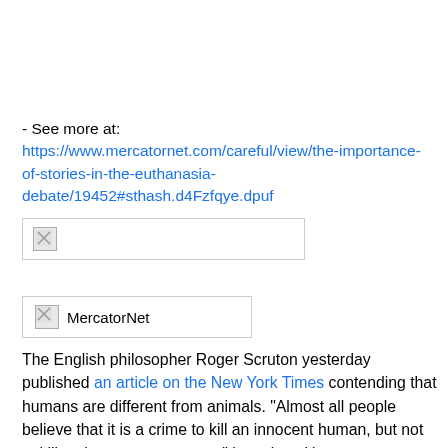- See more at: https://www.mercatornet.com/careful/view/the-importance-of-stories-in-the-euthanasia-debate/19452#sthash.d4Fzfqye.dpuf
[Figure (other): Broken image placeholder in a bordered box]
[Figure (other): MercatorNet broken image placeholder in a bordered box with label text 'MercatorNet']
The English philosopher Roger Scruton yesterday published an article on the New York Times contending that humans are different from animals. "Almost all people believe that it is a crime to kill an innocent human, but not to kill an innocent tapeworm," he writes. Humans are special.